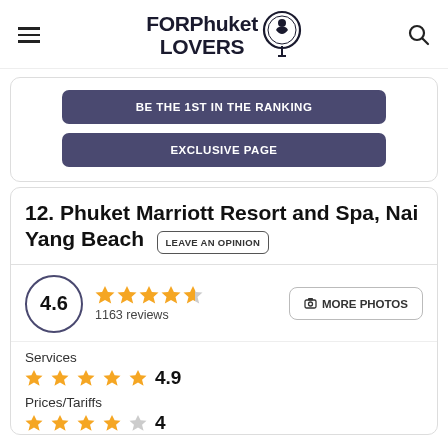FORPhuket LOVERS
BE THE 1ST IN THE RANKING
EXCLUSIVE PAGE
12. Phuket Marriott Resort and Spa, Nai Yang Beach
LEAVE AN OPINION
4.6  1163 reviews  MORE PHOTOS
Services  4.9
Prices/Tariffs  4